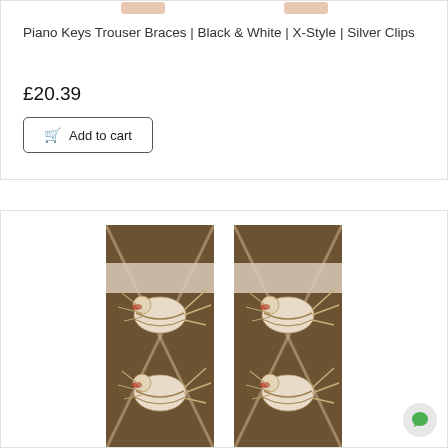[Figure (screenshot): Two thumbnail images of trouser braces shown side by side at the top of a product card (partially cut off at top)]
Piano Keys Trouser Braces | Black & White | X-Style | Silver Clips
£20.39
Add to cart
[Figure (photo): Two pheasant-patterned trouser braces shown side by side. The braces have a brown/khaki textile background with cream and brown pheasant bird illustrations, and a beige/cream adjustment slider band near the top.]